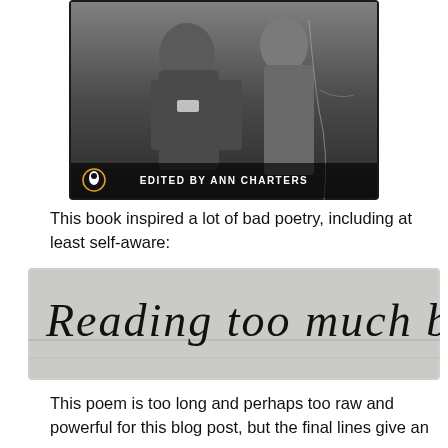[Figure (photo): Book cover photograph showing two people in old black and white photo, with text 'EDITED BY ANN CHARTERS' and Penguin logo at bottom]
This book inspired a lot of bad poetry, including at least self-aware:
[Figure (photo): Handwritten text on lined paper reading 'Reading too much beat']
This poem is too long and perhaps too raw and powerful for this blog post, but the final lines give an